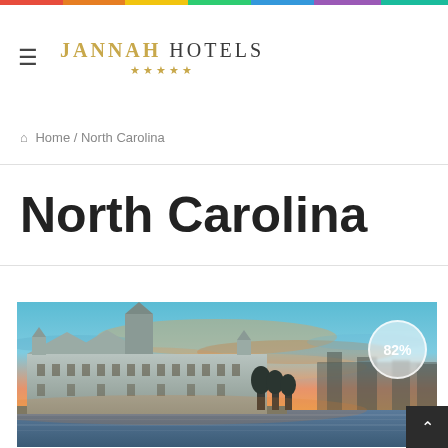Jannah Hotels (logo with hamburger menu and rainbow bar)
Home / North Carolina
North Carolina
[Figure (photo): A scenic sunset photo of a grand historic building (resembling a European castle/palace) along a waterfront, with a dramatic orange and teal sky. An 82% badge circle is overlaid in the upper right of the image.]